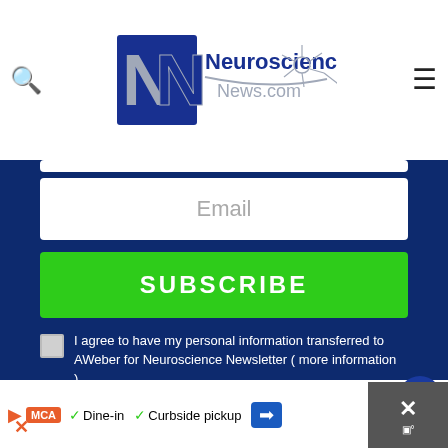[Figure (logo): Neuroscience News.com logo with NN monogram and neuron graphic]
[Figure (screenshot): Email subscription form with input boxes, Subscribe button, and checkbox agreement]
Email
SUBSCRIBE
I agree to have my personal information transferred to AWeber for Neuroscience Newsletter ( more information )
Sign up to receive our recent neuroscience headlines and summaries sent to your email once a day, totally free.
We hate spam and only use your email to
[Figure (infographic): Advertisement bar at bottom with MCA badge, Dine-in, Curbside pickup text, navigation arrow, close X button]